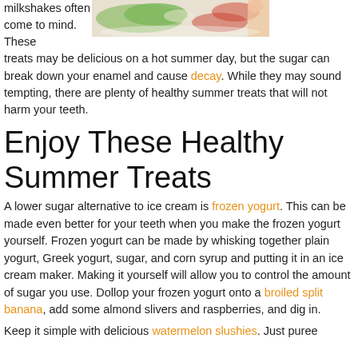milkshakes often come to mind. These treats may be delicious on a hot summer day, but the sugar can break down your enamel and cause decay. While they may sound tempting, there are plenty of healthy summer treats that will not harm your teeth.
[Figure (photo): A photo showing colorful food items, appears to be a salad or healthy dish with green and red elements]
Enjoy These Healthy Summer Treats
A lower sugar alternative to ice cream is frozen yogurt. This can be made even better for your teeth when you make the frozen yogurt yourself. Frozen yogurt can be made by whisking together plain yogurt, Greek yogurt, sugar, and corn syrup and putting it in an ice cream maker. Making it yourself will allow you to control the amount of sugar you use. Dollop your frozen yogurt onto a broiled split banana, add some almond slivers and raspberries, and dig in.
Keep it simple with delicious watermelon slushies. Just puree